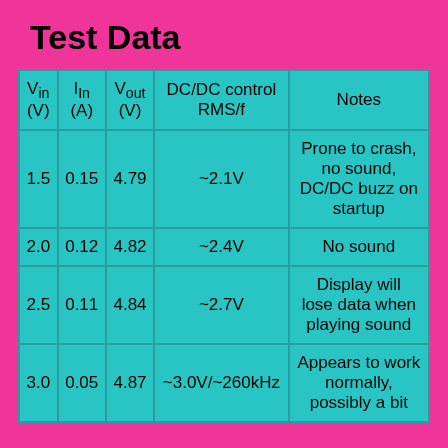Test Data
| Vin (V) | IIn (A) | Vout (V) | DC/DC control RMS/f | Notes |
| --- | --- | --- | --- | --- |
| 1.5 | 0.15 | 4.79 | ~2.1V | Prone to crash, no sound, DC/DC buzz on startup |
| 2.0 | 0.12 | 4.82 | ~2.4V | No sound |
| 2.5 | 0.11 | 4.84 | ~2.7V | Display will lose data when playing sound |
| 3.0 | 0.05 | 4.87 | ~3.0V/~260kHz | Appears to work normally, possibly a bit... |